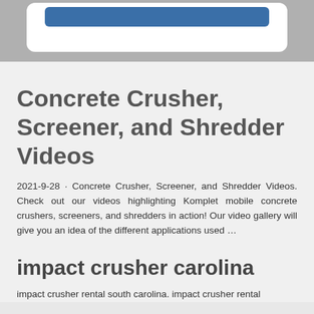[Figure (other): Top banner area with a white card containing a blue button/bar on a gray background]
Concrete Crusher, Screener, and Shredder Videos
2021-9-28 · Concrete Crusher, Screener, and Shredder Videos. Check out our videos highlighting Komplet mobile concrete crushers, screeners, and shredders in action! Our video gallery will give you an idea of the different applications used …
impact crusher carolina
impact crusher rental south carolina. impact crusher rental